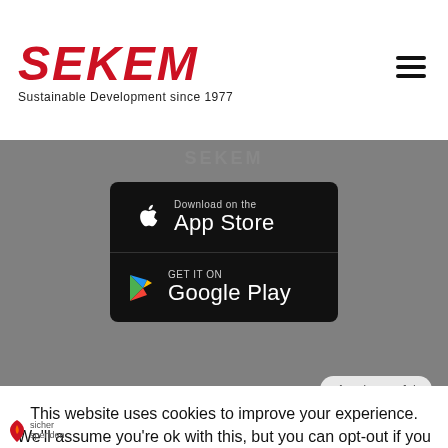[Figure (logo): SEKEM logo with red stylized italic text and tagline 'Sustainable Development since 1977']
[Figure (screenshot): Gray section showing SEKEM label and App Store / Google Play download buttons with black backgrounds]
App by appful
Home | About Us | Economy | Societal Life | Cultural Life | Ecology |
This website uses cookies to improve your experience. We'll assume you're ok with this, but you can opt-out if you wish.
Accept
Reject
Our Privacy Notice
[Figure (logo): Sicher Spenden badge with flame icon]